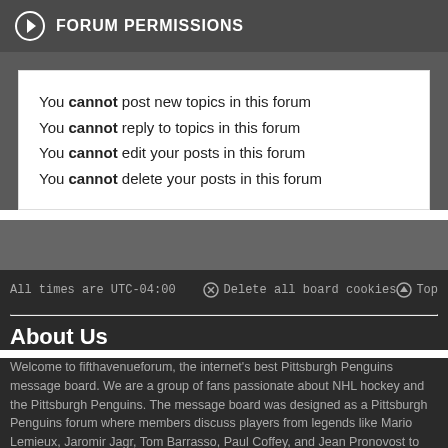FORUM PERMISSIONS
You cannot post new topics in this forum
You cannot reply to topics in this forum
You cannot edit your posts in this forum
You cannot delete your posts in this forum
All times are UTC-04:00   Delete all board cookies   Top
About Us
Welcome to fifthavenueforum, the internet's best Pittsburgh Penguins message board. We are a group of fans passionate about NHL hockey and the Pittsburgh Penguins. The message board was designed as a Pittsburgh Penguins forum where members discuss players from legends like Mario Lemieux, Jaromir Jagr, Tom Barrasso, Paul Coffey, and Jean Pronovost to current super stars like Sidney Crosby, Evgeni Malkin, Kris Letang, Phil Kessel, and Marc-Andre Fleury to prospects like Daniel Sprong, Oskar Sundqvist, Matt Murray, and Tristan Jarry. We talk